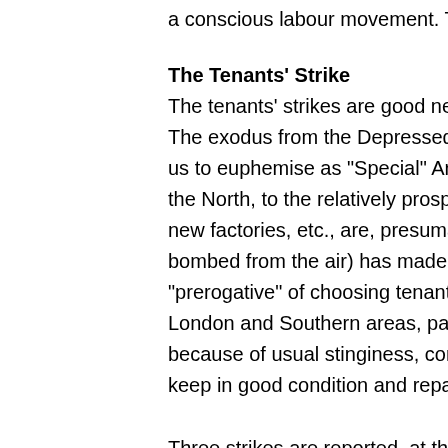a conscious labour movement. They are scabs
The Tenants' Strike
The tenants' strikes are good news. Noticeably The exodus from the Depressed Areas (which us to euphemise as "Special" Areas!) in Wales, the North, to the relatively prosperous South an new factories, etc., are, presumably to make th bombed from the air) has made landlords infla "prerogative" of choosing tenants. Rents are g London and Southern areas, partly because of because of usual stinginess, conditions (even t keep in good condition and repair) are getting w
Three strikes are reported, at the moment of w Dean Street, one of the toughest parts of Spita solid strike demands lower rents and little bette Somewhat akin to the wartime Glasgow rent st leading the struggle to resist the landlord and